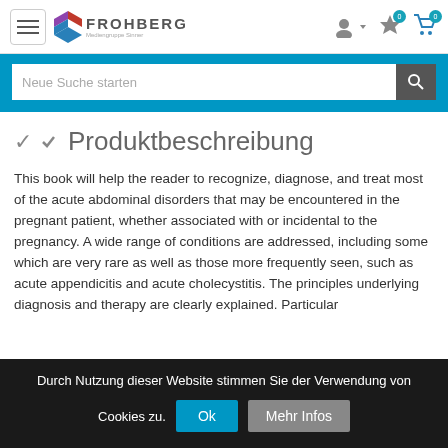[Figure (screenshot): Website header with hamburger menu, Frohberg logo, user icon, star icon with badge 0, and cart icon with badge 0]
[Figure (screenshot): Blue search bar with white input field labeled 'Neue Suche starten' and dark search button with magnifying glass icon]
Produktbeschreibung
This book will help the reader to recognize, diagnose, and treat most of the acute abdominal disorders that may be encountered in the pregnant patient, whether associated with or incidental to the pregnancy. A wide range of conditions are addressed, including some which are very rare as well as those more frequently seen, such as acute appendicitis and acute cholecystitis. The principles underlying diagnosis and therapy are clearly explained. Particular
Durch Nutzung dieser Website stimmen Sie der Verwendung von Cookies zu.
Ok
Mehr Infos